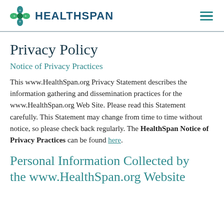HEALTHSPAN
Privacy Policy
Notice of Privacy Practices
This www.HealthSpan.org Privacy Statement describes the information gathering and dissemination practices for the www.HealthSpan.org Web Site. Please read this Statement carefully. This Statement may change from time to time without notice, so please check back regularly. The HealthSpan Notice of Privacy Practices can be found here.
Personal Information Collected by the www.HealthSpan.org Website